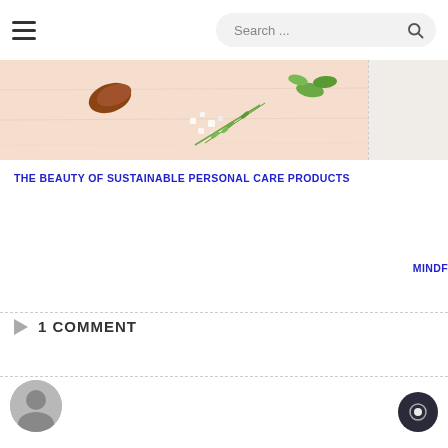Search ...
[Figure (photo): Top portion of a flat-lay photo showing herbs, salt crystals, and green leaves on a light peach/wood background — natural personal care ingredients]
THE BEAUTY OF SUSTAINABLE PERSONAL CARE PRODUCTS
MINDF
1 COMMENT